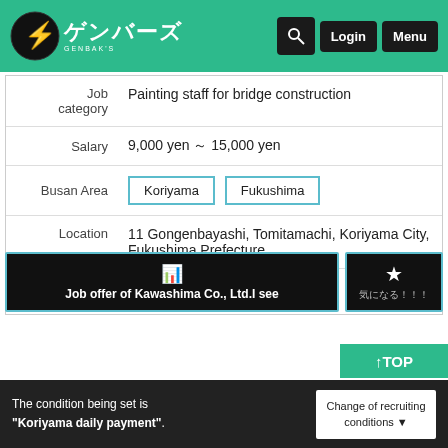[Figure (logo): Genbaz (ゲンバーズ) logo with lightning bolt icon on dark circle, teal header background with Login and Menu buttons]
| Field | Value |
| --- | --- |
| Job category | Painting staff for bridge construction |
| Salary | 9,000 yen ～ 15,000 yen |
| Busan Area | Koriyama  Fukushima |
| Location | 11 Gongenbayashi, Tomitamachi, Koriyama City, Fukushima Prefecture |
| NEW | 2022-08-19 04: 45: 57 |
Job offer of Kawashima Co., Ltd.I see
↑TOP
The condition being set is "Koriyama daily payment".
Change of recruiting conditions ▼